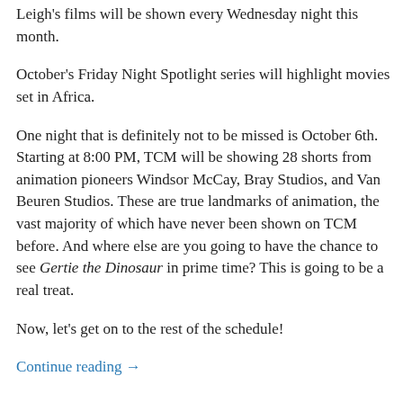Leigh's films will be shown every Wednesday night this month.
October's Friday Night Spotlight series will highlight movies set in Africa.
One night that is definitely not to be missed is October 6th. Starting at 8:00 PM, TCM will be showing 28 shorts from animation pioneers Windsor McCay, Bray Studios, and Van Beuren Studios. These are true landmarks of animation, the vast majority of which have never been shown on TCM before. And where else are you going to have the chance to see Gertie the Dinosaur in prime time? This is going to be a real treat.
Now, let’s get on to the rest of the schedule!
Continue reading →